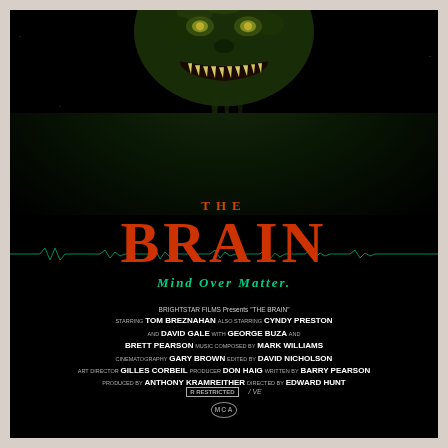[Figure (illustration): Movie poster for 'The Brain' (1988). Dark black background with a monstrous glowing green/yellow creature face with sharp teeth at the top. An EKG/heartbeat line runs across the middle. Large orange-red text reads 'THE BRAIN'. Green italic tagline reads 'Mind Over Matter.' Credits text below lists cast and crew. Rating box and MCA logo at bottom.]